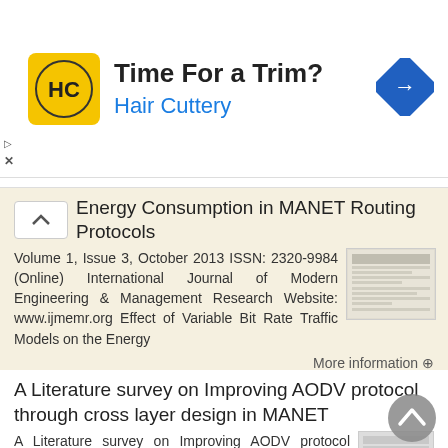[Figure (screenshot): Advertisement banner for Hair Cuttery: logo with HC initials on yellow background, headline 'Time For a Trim?', subtext 'Hair Cuttery' in blue, navigation arrow icon on right]
Energy Consumption in MANET Routing Protocols
Volume 1, Issue 3, October 2013 ISSN: 2320-9984 (Online) International Journal of Modern Engineering & Management Research Website: www.ijmemr.org Effect of Variable Bit Rate Traffic Models on the Energy
More information →
A Literature survey on Improving AODV protocol through cross layer design in MANET
A Literature survey on Improving AODV protocol through cross layer design in